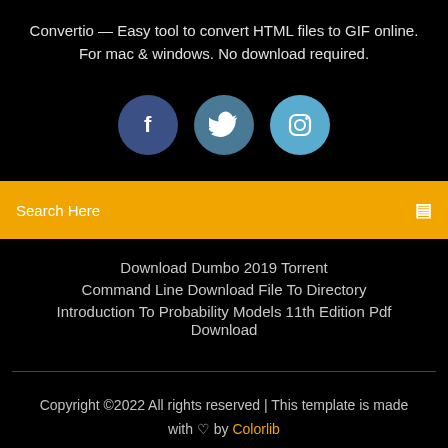Convertio — Easy tool to convert HTML files to GIF online. For mac & windows. No download required.
[Figure (infographic): Three social media icon circles: Facebook (dark blue), Twitter (medium blue-grey), Instagram (light blue)]
Search Here
Download Dumbo 2019 Torrent
Command Line Download File To Directory
Introduction To Probability Models 11th Edition Pdf Download
Copyright ©2022 All rights reserved | This template is made with ♡ by Colorlib